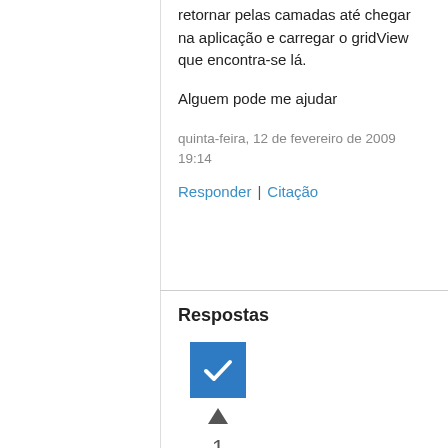retornar pelas camadas até chegar na aplicação e carregar o gridView que encontra-se lá.
Alguem pode me ajudar
quinta-feira, 12 de fevereiro de 2009 19:14
Responder | Citação
Respostas
[Figure (other): Blue checkbox icon with white checkmark, upward triangle arrow, and vote count of 1]